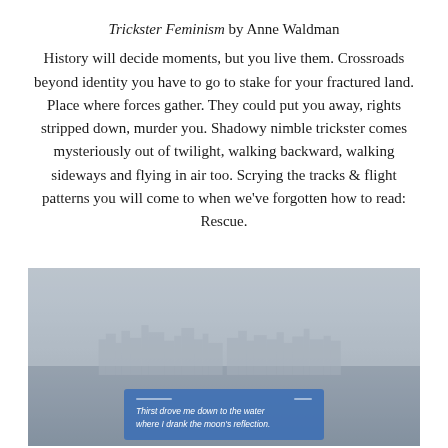Trickster Feminism by Anne Waldman
History will decide moments, but you live them. Crossroads beyond identity you have to go to stake for your fractured land. Place where forces gather. They could put you away, rights stripped down, murder you. Shadowy nimble trickster comes mysteriously out of twilight, walking backward, walking sideways and flying in air too. Scrying the tracks & flight patterns you will come to when we've forgotten how to read: Rescue.
[Figure (photo): A misty, hazy photo of a city skyline across water, taken from a ferry or waterfront. In the foreground at the bottom center is a blue sign or placard with white italic text reading 'Thirst drove me down to the water where I drank the moon's reflection.']